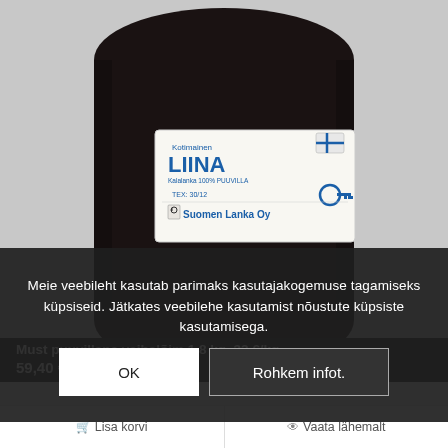[Figure (photo): A large spool/cone of black cotton yarn (puuvillane lõim) with a white label reading 'Kotimainen LIINA Kalalanka 100% PUUVILLA TEX: 30/12 Suomen Lanka Oy' with a Finnish flag logo, against a light gray background.]
Meie veebileht kasutab parimaks kasutajakogemuse tagamiseks küpsiseid. Jätkates veebilehe kasutamist nõustute küpsiste kasutamisega.
OK
Rohkem infot.
Must puuvillane vaibalõim 1.8 kg, 33 €/kg
59,40 €
Lisa korvi
Vaata lähemalt